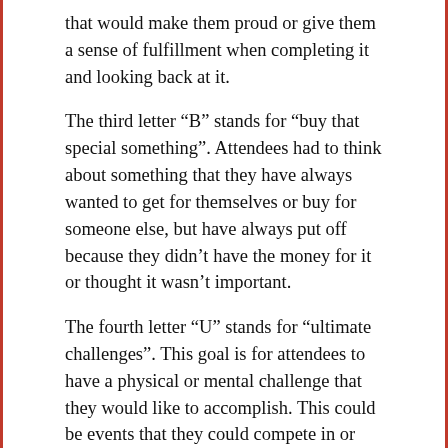that would make them proud or give them a sense of fulfillment when completing it and looking back at it.
The third letter “B” stands for “buy that special something”. Attendees had to think about something that they have always wanted to get for themselves or buy for someone else, but have always put off because they didn’t have the money for it or thought it wasn’t important.
The fourth letter “U” stands for “ultimate challenges”. This goal is for attendees to have a physical or mental challenge that they would like to accomplish. This could be events that they could compete in or maybe something that they are struggling with and overcome.
During the meeting, the attendees were asked to share the goals that they would come up with for each letter and why it is important to them to accomplish this goal. Fritz shared some of her accomplishments for each letter so